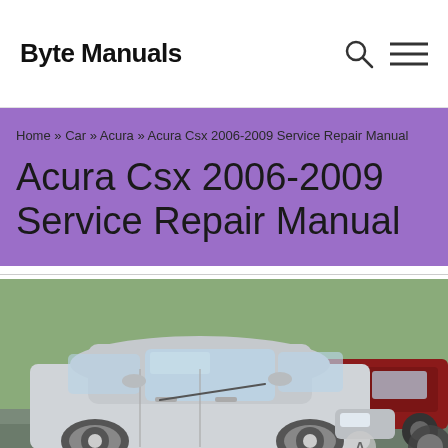Byte Manuals
Home » Car » Acura » Acura Csx 2006-2009 Service Repair Manual
Acura Csx 2006-2009 Service Repair Manual
[Figure (photo): Silver Acura CSX sedan in a parking lot, with trees and another red vehicle in the background. The Acura logo is visible on the front grille.]